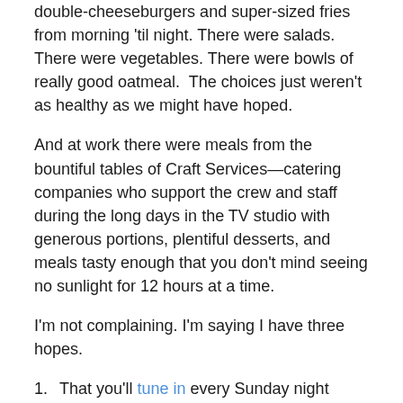double-cheeseburgers and super-sized fries from morning 'til night. There were salads. There were vegetables. There were bowls of really good oatmeal.  The choices just weren't as healthy as we might have hoped.
And at work there were meals from the bountiful tables of Craft Services—catering companies who support the crew and staff during the long days in the TV studio with generous portions, plentiful desserts, and meals tasty enough that you don't mind seeing no sunlight for 12 hours at a time.
I'm not complaining. I'm saying I have three hopes.
That you'll tune in every Sunday night starting June 10—and tell your friends and family to do the same—so that we become a big fat hit and ABC has no reason not to renew us.